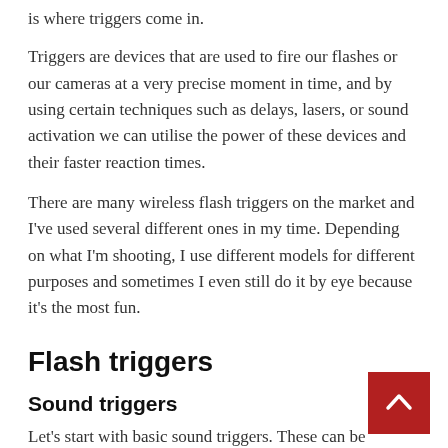is where triggers come in.
Triggers are devices that are used to fire our flashes or our cameras at a very precise moment in time, and by using certain techniques such as delays, lasers, or sound activation we can utilise the power of these devices and their faster reaction times.
There are many wireless flash triggers on the market and I’ve used several different ones in my time. Depending on what I’m shooting, I use different models for different purposes and sometimes I even still do it by eye because it’s the most fun.
Flash triggers
Sound triggers
Let’s start with basic sound triggers. These can be